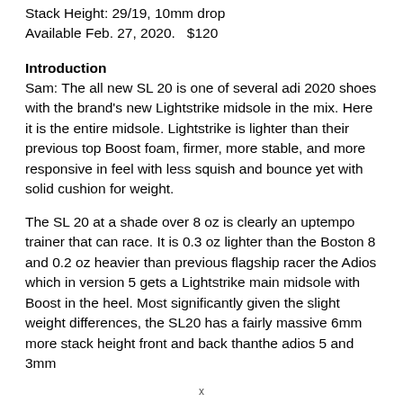Stack Height: 29/19, 10mm drop
Available Feb. 27, 2020.   $120
Introduction
Sam: The all new SL 20 is one of several adi 2020 shoes with the brand's new Lightstrike midsole in the mix. Here it is the entire midsole. Lightstrike is lighter than their previous top Boost foam, firmer, more stable, and more responsive in feel with less squish and bounce yet with solid cushion for weight.
The SL 20 at a shade over 8 oz is clearly an uptempo trainer that can race. It is 0.3 oz lighter than the Boston 8 and 0.2 oz heavier than previous flagship racer the Adios which in version 5 gets a Lightstrike main midsole with Boost in the heel. Most significantly given the slight weight differences, the SL20 has a fairly massive 6mm more stack height front and back thanthe adios 5 and 3mm
x